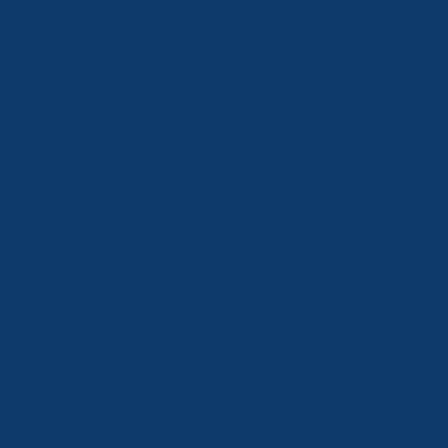nt minister does not see taxes (i.e. money taken by the threat